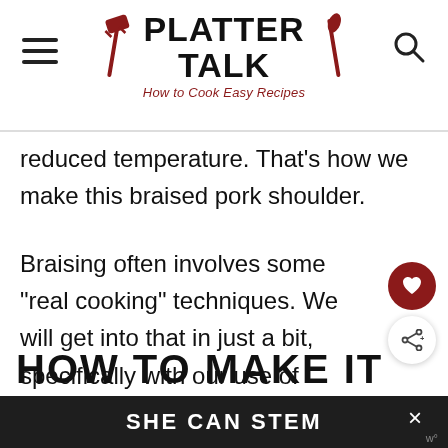PLATTER TALK - How to Cook Easy Recipes
reduced temperature.  That's how we make this braised pork shoulder.
Braising often involves some "real cooking" techniques. We will get into that in just a bit, specifically with our use of tomato paste and flour, when making this deliciously braised pork shoulder.
HOW TO MAKE IT
SHE CAN STEM